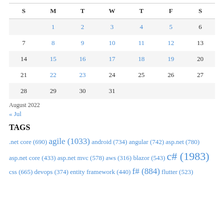| S | M | T | W | T | F | S |
| --- | --- | --- | --- | --- | --- | --- |
|  | 1 | 2 | 3 | 4 | 5 | 6 |
| 7 | 8 | 9 | 10 | 11 | 12 | 13 |
| 14 | 15 | 16 | 17 | 18 | 19 | 20 |
| 21 | 22 | 23 | 24 | 25 | 26 | 27 |
| 28 | 29 | 30 | 31 |  |  |  |
August 2022
« Jul
TAGS
.net core (690) agile (1033) android (734) angular (742) asp.net (780) asp.net core (433) asp.net mvc (578) aws (316) blazor (543) c# (1983) css (665) devops (374) entity framework (440) f# (884) flutter (523)